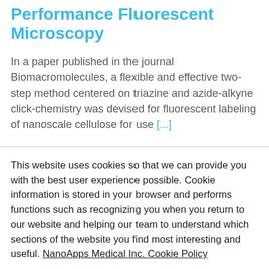Performance Fluorescent Microscopy
In a paper published in the journal Biomacromolecules, a flexible and effective two-step method centered on triazine and azide-alkyne click-chemistry was devised for fluorescent labeling of nanoscale cellulose for use [...]
This website uses cookies so that we can provide you with the best user experience possible. Cookie information is stored in your browser and performs functions such as recognizing you when you return to our website and helping our team to understand which sections of the website you find most interesting and useful. NanoApps Medical Inc. Cookie Policy
Accept